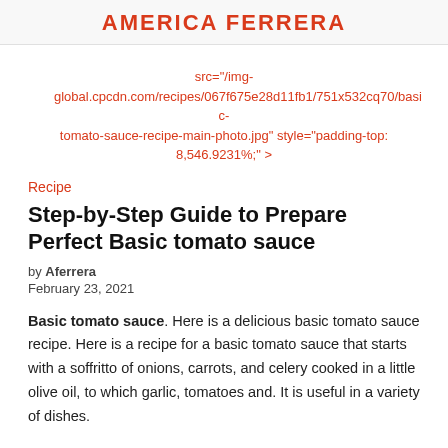AMERICA FERRERA
src="/img-global.cpcdn.com/recipes/067f675e28d11fb1/751x532cq70/basic-tomato-sauce-recipe-main-photo.jpg" style="padding-top: 8,546.9231%;">
Recipe
Step-by-Step Guide to Prepare Perfect Basic tomato sauce
by Aferrera
February 23, 2021
Basic tomato sauce. Here is a delicious basic tomato sauce recipe. Here is a recipe for a basic tomato sauce that starts with a soffritto of onions, carrots, and celery cooked in a little olive oil, to which garlic, tomatoes and. It is useful in a variety of dishes.